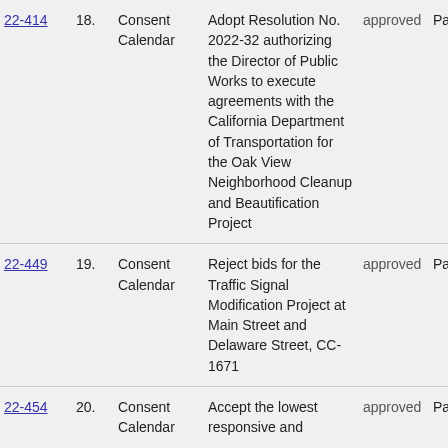| File # | Item # | Type | Description | Action | Vote |
| --- | --- | --- | --- | --- | --- |
| 22-414 | 18. | Consent Calendar | Adopt Resolution No. 2022-32 authorizing the Director of Public Works to execute agreements with the California Department of Transportation for the Oak View Neighborhood Cleanup and Beautification Project | approved | Pas |
| 22-449 | 19. | Consent Calendar | Reject bids for the Traffic Signal Modification Project at Main Street and Delaware Street, CC-1671 | approved | Pas |
| 22-454 | 20. | Consent Calendar | Accept the lowest responsive and | approved | Pas |